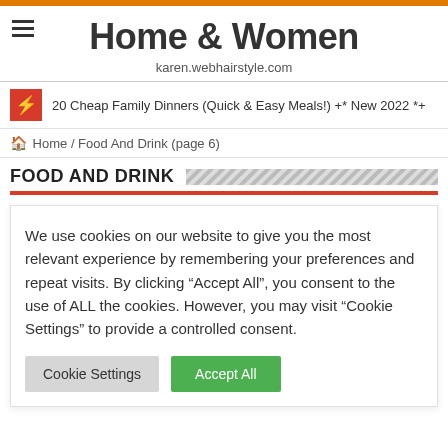Home & Women — karen.webhairstyle.com
20 Cheap Family Dinners (Quick & Easy Meals!) +* New 2022 *+
Home / Food And Drink (page 6)
FOOD AND DRINK
We use cookies on our website to give you the most relevant experience by remembering your preferences and repeat visits. By clicking "Accept All", you consent to the use of ALL the cookies. However, you may visit "Cookie Settings" to provide a controlled consent.